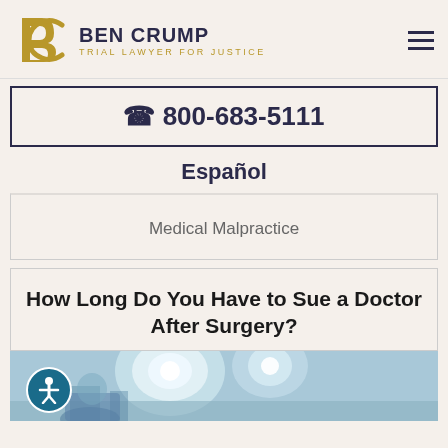BEN CRUMP - TRIAL LAWYER FOR JUSTICE
800-683-5111
Español
Medical Malpractice
How Long Do You Have to Sue a Doctor After Surgery?
[Figure (photo): Operating room surgical scene with surgical lights and medical equipment, blue-tinted photo]